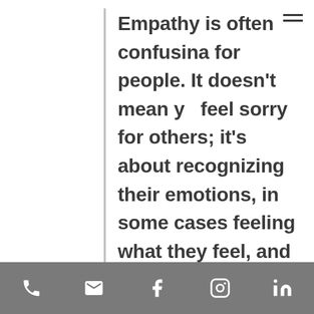Empathy is often confusing for people. It doesn't mean you feel sorry for others; it's about recognizing their emotions, in some cases feeling what they feel, and seeing their situation from their perspective. It allows you to connect with someone in an emotional state other than your own, through compassion and understanding.
[phone] [email] [facebook] [instagram] [linkedin]